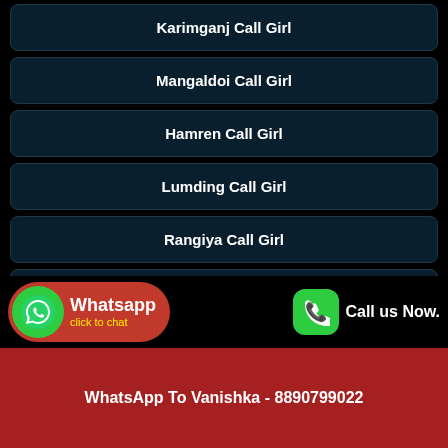Karimganj Call Girl
Mangaldoi Call Girl
Hamren Call Girl
Lumding Call Girl
Rangiya Call Girl
Maibang Call Girl
Margherita Call Girl
Call Vanishka Now - 8890799022
WhatsApp To Vanishka - 8890799022